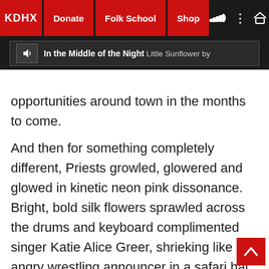KDHX | Donate | Folk School | Shop | Now playing: In the Middle of the Night - Little Sunflower by...
opportunities around town in the months to come.
And then for something completely different, Priests growled, glowered and glowed in kinetic neon pink dissonance. Bright, bold silk flowers sprawled across the drums and keyboard complimented singer Katie Alice Greer, shrieking like an angry wrestling announcer in a safari hat, high-waisted jeans and high tops, "Footloose" dancing and gyrating across the stage. Guitarist GL Jaguar shredded away in his corner for a selection of